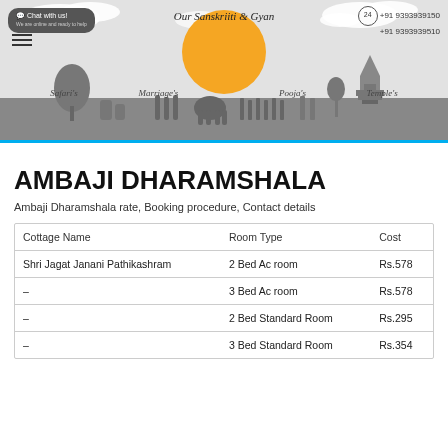[Figure (illustration): Website header for 'Our Sanskriti & Gyan' with sun, clouds, and Indian cultural silhouettes including safari animals, marriage procession, elephants, temple figures, and a South Indian temple. Navigation items: Safari's, Marriage's, Pooja's, Temple's. Chat button top-left, phone numbers top-right.]
AMBAJI DHARAMSHALA
Ambaji Dharamshala rate, Booking procedure, Contact details
| Cottage Name | Room Type | Cost |
| --- | --- | --- |
| Shri Jagat Janani Pathikashram | 2 Bed Ac room | Rs.578 |
| – | 3 Bed Ac room | Rs.578 |
| – | 2 Bed Standard Room | Rs.295 |
| – | 3 Bed Standard Room | Rs.354 |